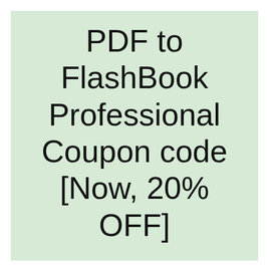PDF to FlashBook Professional Coupon code [Now, 20% OFF]
Submitted by A-PDF FlipBuilder coupon code
[Figure (illustration): 3D product box illustration with dark top, white front face showing 'Coupon codes' in bold blue text, and a dark left spine with rotated text reading 'rking'.]